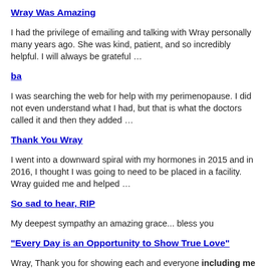Wray Was Amazing
I had the privilege of emailing and talking with Wray personally many years ago. She was kind, patient, and so incredibly helpful. I will always be grateful …
ba
I was searching the web for help with my perimenopause. I did not even understand what I had, but that is what the doctors called it and then they added …
Thank You Wray
I went into a downward spiral with my hormones in 2015 and in 2016, I thought I was going to need to be placed in a facility. Wray guided me and helped …
So sad to hear, RIP
My deepest sympathy an amazing grace... bless you
"Every Day is an Opportunity to Show True Love"
Wray, Thank you for showing each and everyone including me true love through your kindness and generosity to exchange information and resources …
Thank you for everything!
You have done great things. Rest in peace.
Adrienne Corrigan